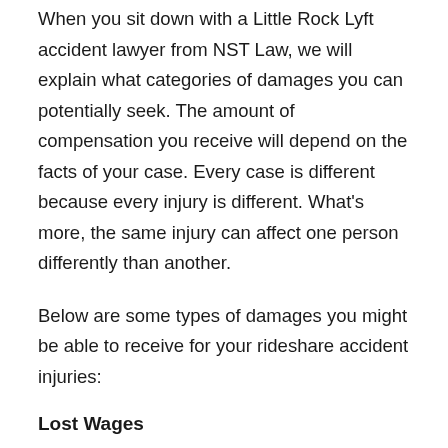When you sit down with a Little Rock Lyft accident lawyer from NST Law, we will explain what categories of damages you can potentially seek. The amount of compensation you receive will depend on the facts of your case. Every case is different because every injury is different. What's more, the same injury can affect one person differently than another.
Below are some types of damages you might be able to receive for your rideshare accident injuries:
Lost Wages
If your injuries have caused you to miss time from work, you can seek reimbursement for those lost